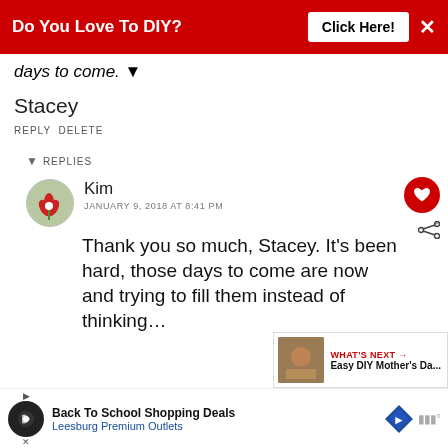[Figure (screenshot): Red banner advertisement: 'Do You Love To DIY?' with 'Click Here!' button and close X]
days to come. ▼
Stacey
REPLY DELETE
▼ REPLIES
Kim
JANUARY 9, 2018 AT 8:41 PM
Thank you so much, Stacey. It's been hard, those days to come are now and trying to fill them instead of thinking…
[Figure (screenshot): What's Next overlay with thumbnail: 'Easy DIY Mother's Da...']
[Figure (screenshot): Advertisement bar: Back To School Shopping Deals, Leesburg Premium Outlets]